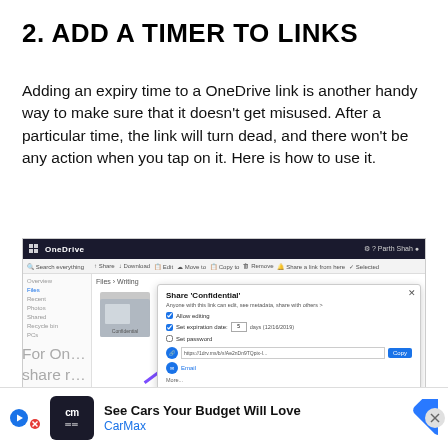2. ADD A TIMER TO LINKS
Adding an expiry time to a OneDrive link is another handy way to make sure that it doesn’t get misused. After a particular time, the link will turn dead, and there won’t be any action when you tap on it. Here is how to use it.
[Figure (screenshot): Screenshot of OneDrive web interface showing a Share dialog for a file called 'Confidential'. The dialog has checkboxes for 'Allow editing' and 'Set expiration date' with an input field showing '5' days and a date. A purple arrow points to the 'Set expiration date' checkbox. There are also options for a link with Copy button and Email sharing.]
For On… the share r… the